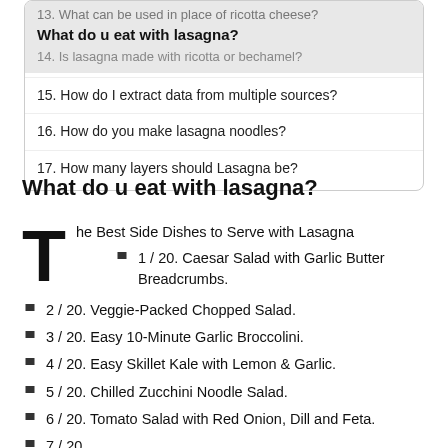13. What can be used in place of ricotta cheese?
What do u eat with lasagna?
14. Is lasagna made with ricotta or bechamel?
15. How do I extract data from multiple sources?
16. How do you make lasagna noodles?
17. How many layers should Lasagna be?
What do u eat with lasagna?
The Best Side Dishes to Serve with Lasagna
1 / 20. Caesar Salad with Garlic Butter Breadcrumbs.
2 / 20. Veggie-Packed Chopped Salad.
3 / 20. Easy 10-Minute Garlic Broccolini.
4 / 20. Easy Skillet Kale with Lemon & Garlic.
5 / 20. Chilled Zucchini Noodle Salad.
6 / 20. Tomato Salad with Red Onion, Dill and Feta.
7 / 20.